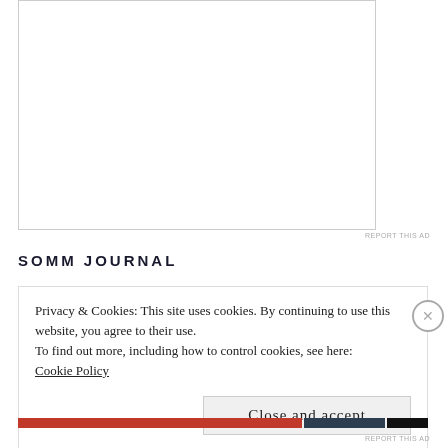[Figure (other): White blank advertisement box with border]
REPORT THIS AD
SOMM JOURNAL
Privacy & Cookies: This site uses cookies. By continuing to use this website, you agree to their use.
To find out more, including how to control cookies, see here:
Cookie Policy
Close and accept
[Figure (other): Bottom colored bar with red, dark, and black segments]
REPORT THIS AD